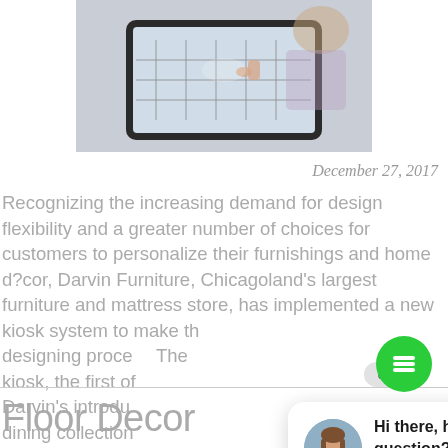[Figure (photo): Person using a tablet device showing a furniture design interface, photographed from above.]
December 27, 2017
Recognizing the increasing demand for design flexibility and a greater number of choices for customers to personalize their furnishings and home d?cor, Darvin Furniture, Chicagoland's largest furniture and mattress store, has implemented a new kiosk system to make the designing process... kiosk, the first of... Darvin's introdu... dining collection...
[Figure (screenshot): Chat popup overlay with close button, avatar of a woman, and message 'Hi there, have a question? Text us here.' with a Learn More link and green chat FAB button.]
Floor Decor